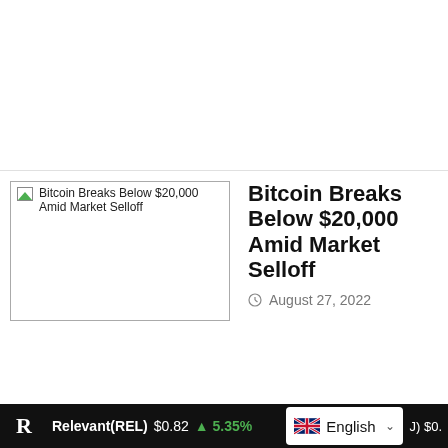[Figure (photo): Broken image placeholder with alt text: Bitcoin Breaks Below $20,000 Amid Market Selloff]
Bitcoin Breaks Below $20,000 Amid Market Selloff
August 27, 2022
Relevant(REL) $0.82 ↑ 5.35% English